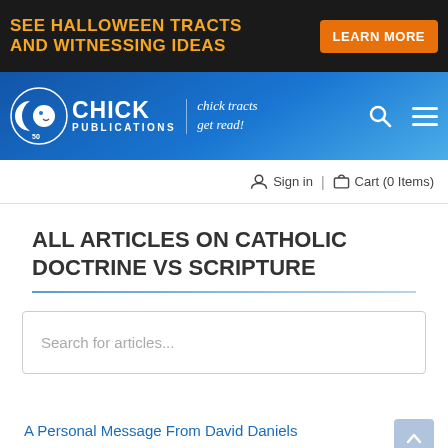[Figure (screenshot): Halloween promotional banner with dark background, orange text reading 'SEE HALLOWEEN TRACTS AND WITNESSING IDEAS' and orange 'LEARN MORE' button]
[Figure (logo): Chick Publications logo on blue gradient background with moon/face icon, 'CHICK PUBLICATIONS', tagline 'chick tracts get read!', search and menu icons]
Sign in  |  Cart (0 Items)
ALL ARTICLES ON CATHOLIC DOCTRINE VS SCRIPTURE
Search for articles...
A Personal Message From David Daniels